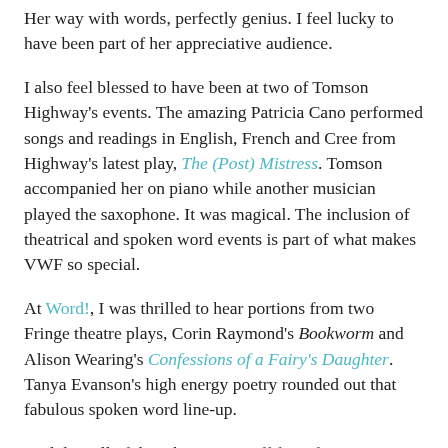Her way with words, perfectly genius. I feel lucky to have been part of her appreciative audience.
I also feel blessed to have been at two of Tomson Highway's events. The amazing Patricia Cano performed songs and readings in English, French and Cree from Highway's latest play, The (Post) Mistress. Tomson accompanied her on piano while another musician played the saxophone. It was magical. The inclusion of theatrical and spoken word events is part of what makes VWF so special.
At Word!, I was thrilled to hear portions from two Fringe theatre plays, Corin Raymond's Bookworm and Alison Wearing's Confessions of a Fairy's Daughter. Tanya Evanson's high energy poetry rounded out that fabulous spoken word line-up.
And then all of the other great stuff from fantastic authors -- novels and short stories and memoirs -- I've been in literary heaven. I've spent $223 on books. My suitcase will be much heavier going home today. One last treat awaits before I leave: Helen Humphreys in conversation with Kathryn